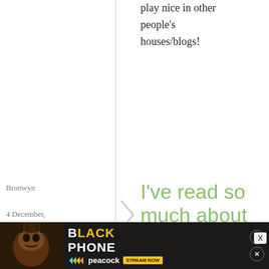play nice in other people's houses/blogs!
Bronwyn
4 December, 2008 – 17:44
permalink
I've read so much about
I've read so much about Julia Child, but somehow have never actually read anything she's written.
[Figure (other): The Black Phone movie advertisement banner on Peacock, Stream Now]